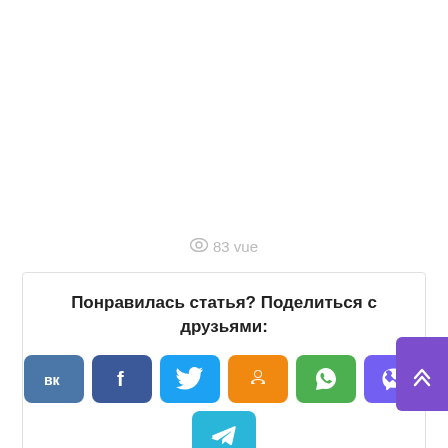👁 83 vue
Понравилась статья? Поделиться с друзьями:
[Figure (infographic): Row of social share buttons: VK (blue), Facebook (dark blue), Twitter (light blue), Odnoklassniki (orange), WhatsApp (green), Viber (purple). Second row: Telegram (cyan). Scroll-to-top button (purple) overlapping top right corner.]